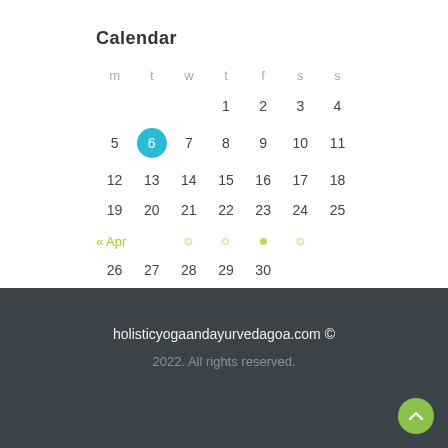Calendar
| m | t | w | t | f | s | s |
| --- | --- | --- | --- | --- | --- | --- |
|  |  |  | 1 | 2 | 3 | 4 |
| 5 | 6 | 7 | 8 | 9 | 10 | 11 |
| 12 | 13 | 14 | 15 | 16 | 17 | 18 |
| 19 | 20 | 21 | 22 | 23 | 24 | 25 |
| 26 | 27 | 28 | 29 | 30 |  |  |
« Apr
holisticyogaandayurvedagoa.com © 2022. All rights reserved.